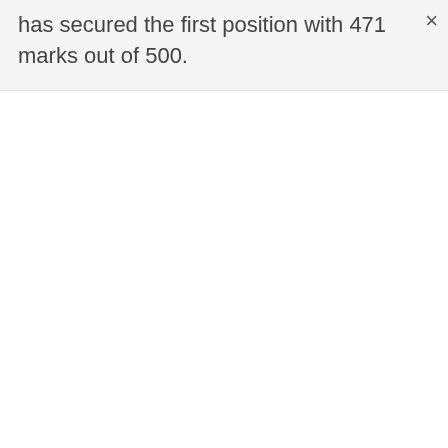has secured the first position with 471 marks out of 500.
×